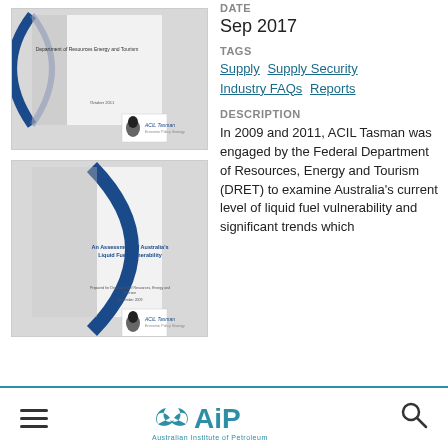[Figure (illustration): Thumbnail of a document cover page with blue arc design and ACIL Tasman logo (first document)]
DATE
Sep 2017
TAGS
Supply  Supply Security  Industry FAQs  Reports
[Figure (illustration): Thumbnail of a second document cover: An Assessment of Australia's Liquid Fuel Vulnerability, with blue arc design and ACIL Tasman logo]
DESCRIPTION
In 2009 and 2011, ACIL Tasman was engaged by the Federal Department of Resources, Energy and Tourism (DRET) to examine Australia's current level of liquid fuel vulnerability and significant trends which
[Figure (logo): Australian Institute of Petroleum (AiP) logo at bottom footer]